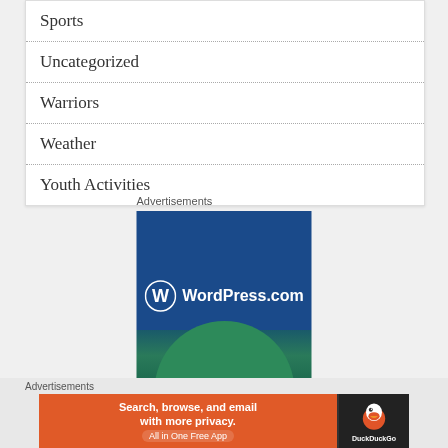Sports
Uncategorized
Warriors
Weather
Youth Activities
Advertisements
[Figure (screenshot): WordPress.com advertisement banner with blue background and green half-circle at bottom]
Advertisements
[Figure (screenshot): DuckDuckGo advertisement: Search, browse, and email with more privacy. All in One Free App]